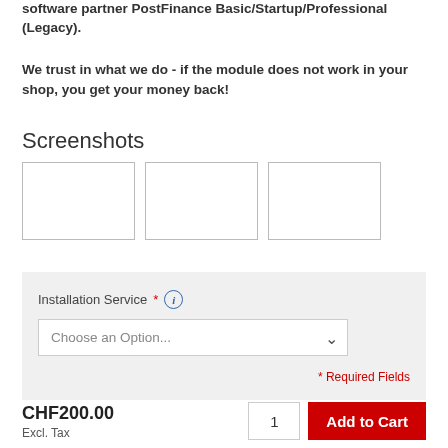software partner PostFinance Basic/Startup/Professional (Legacy).
We trust in what we do - if the module does not work in your shop, you get your money back!
Screenshots
[Figure (screenshot): Three placeholder screenshot boxes]
| Installation Service * (i) | Choose an Option... | * Required Fields |
CHF200.00
Excl. Tax